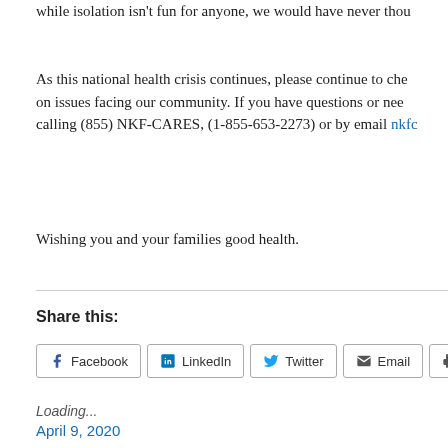while isolation isn't fun for anyone, we would have never thou
As this national health crisis continues, please continue to che on issues facing our community. If you have questions or nee calling (855) NKF-CARES, (1-855-653-2273) or by email nkfc
Wishing you and your families good health.
Share this:
Loading...
April 9, 2020